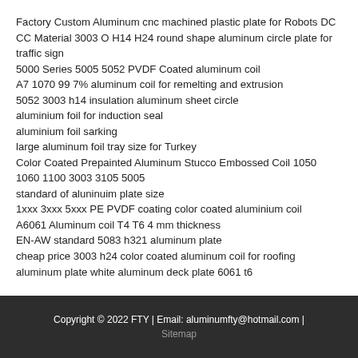Factory Custom Aluminum cnc machined plastic plate for Robots DC CC Material 3003 O H14 H24 round shape aluminum circle plate for traffic sign
5000 Series 5005 5052 PVDF Coated aluminum coil
A7 1070 99 7% aluminum coil for remelting and extrusion
5052 3003 h14 insulation aluminum sheet circle
aluminium foil for induction seal
aluminium foil sarking
large aluminum foil tray size for Turkey
Color Coated Prepainted Aluminum Stucco Embossed Coil 1050 1060 1100 3003 3105 5005
standard of aluninuim plate size
1xxx 3xxx 5xxx PE PVDF coating color coated aluminium coil
A6061 Aluminum coil T4 T6 4 mm thickness
EN-AW standard 5083 h321 aluminum plate
cheap price 3003 h24 color coated aluminum coil for roofing
aluminum plate white aluminum deck plate 6061 t6
Copyright © 2022 FTY | Email: aluminumfty@hotmail.com | Sitemap